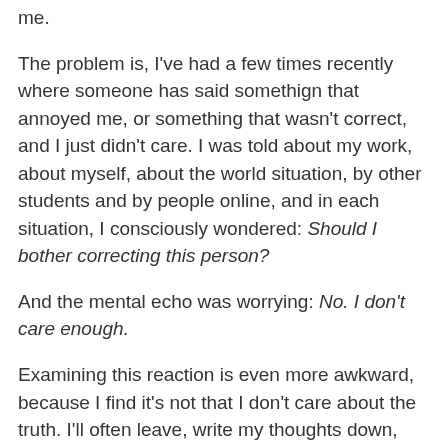me.
The problem is, I've had a few times recently where someone has said somethign that annoyed me, or something that wasn't correct, and I just didn't care. I was told about my work, about myself, about the world situation, by other students and by people online, and in each situation, I consciously wondered: Should I bother correcting this person?
And the mental echo was worrying: No. I don't care enough.
Examining this reaction is even more awkward, because I find it's not that I don't care about the truth. I'll often leave, write my thoughts down, work on them a bit, and wind up with something I like and present that to the world, such as the creation of Angus, the character in The Sixth Age of Sand. It's not that I don't care about the thought, or the issue, but